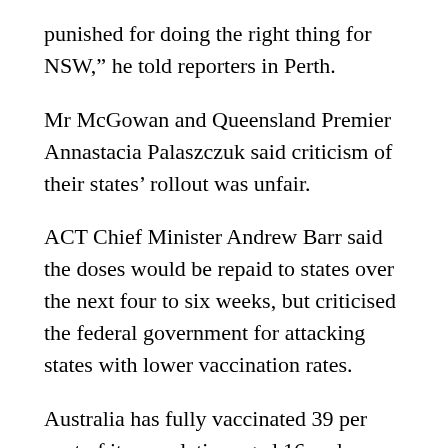punished for doing the right thing for NSW,” he told reporters in Perth.
Mr McGowan and Queensland Premier Annastacia Palaszczuk said criticism of their states’ rollout was unfair.
ACT Chief Minister Andrew Barr said the doses would be repaid to states over the next four to six weeks, but criticised the federal government for attacking states with lower vaccination rates.
Australia has fully vaccinated 39 per cent of its population aged 16 and over while almost 64 per cent have received one dose.
NSW reported another 1220 local infections and eight deaths as authorities brace for a peak in numbers next